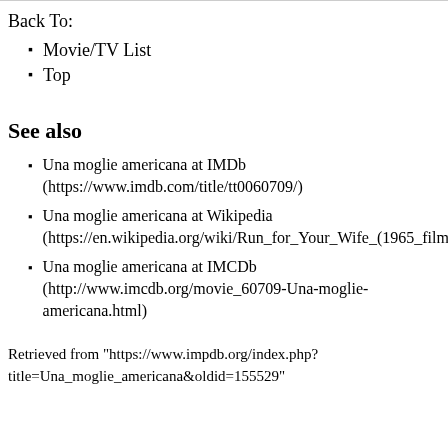Movie/TV List
Top
See also
Una moglie americana at IMDb (https://www.imdb.com/title/tt0060709/)
Una moglie americana at Wikipedia (https://en.wikipedia.org/wiki/Run_for_Your_Wife_(1965_film))
Una moglie americana at IMCDb (http://www.imcdb.org/movie_60709-Una-moglie-americana.html)
Retrieved from "https://www.impdb.org/index.php?title=Una_moglie_americana&oldid=155529"